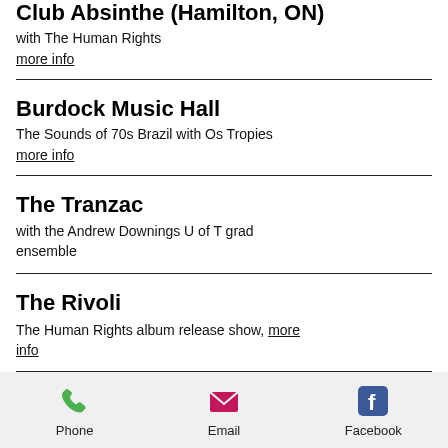Club Absinthe (Hamilton, ON)
with The Human Rights
more info
Burdock Music Hall
The Sounds of 70s Brazil with Os Tropies
more info
The Tranzac
with the Andrew Downings U of T grad ensemble
The Rivoli
The Human Rights album release show, more info
Phone   Email   Facebook